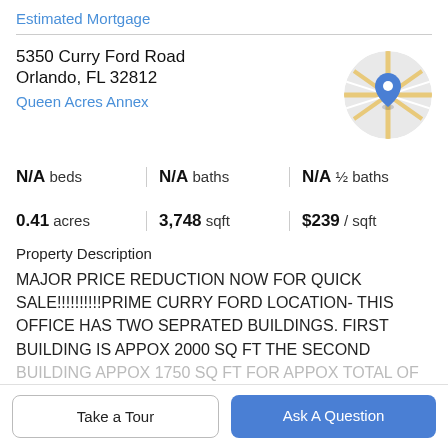Estimated Mortgage
5350 Curry Ford Road
Orlando, FL 32812
Queen Acres Annex
[Figure (map): Circular map thumbnail showing street map with blue location pin marker]
N/A beds | N/A baths | N/A ½ baths
0.41 acres | 3,748 sqft | $239 / sqft
Property Description
MAJOR PRICE REDUCTION NOW FOR QUICK SALE!!!!!!!!!! PRIME CURRY FORD LOCATION- THIS OFFICE HAS TWO SEPRATED BUILDINGS. FIRST BUILDING IS APPOX 2000 SQ FT THE SECOND BUILDING APPOX 1750 SQ FT FOR APPOX TOTAL OF
Take a Tour
Ask A Question